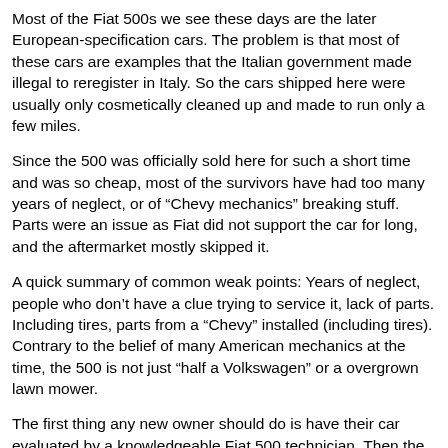Most of the Fiat 500s we see these days are the later European-specification cars. The problem is that most of these cars are examples that the Italian government made illegal to reregister in Italy. So the cars shipped here were usually only cosmetically cleaned up and made to run only a few miles.
Since the 500 was officially sold here for such a short time and was so cheap, most of the survivors have had too many years of neglect, or of “Chevy mechanics” breaking stuff. Parts were an issue as Fiat did not support the car for long, and the aftermarket mostly skipped it.
A quick summary of common weak points: Years of neglect, people who don’t have a clue trying to service it, lack of parts. Including tires, parts from a “Chevy” installed (including tires). Contrary to the belief of many American mechanics at the time, the 500 is not just “half a Volkswagen” or a overgrown lawn mower.
The first thing any new owner should do is have their car evaluated by a knowledgeable Fiat 500 technician. Then the car’s weak spots can be identified and addressed. Cars are delivered to